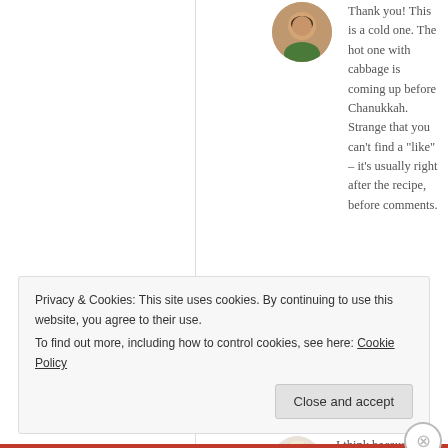[Figure (photo): Circular avatar photo of a woman with short dark hair outdoors]
Thank you! This is a cold one. The hot one with cabbage is coming up before Chanukkah. Strange that you can’t find a “like” – it’s usually right after the recipe, before comments.
★ Liked by 1 person
COOKING FOR THE TIME CHALLENGED
July 27, 2016 at 8:36 PM
[Figure (illustration): Circular avatar illustration of a cartoon chef figure]
I think because I found you through
Privacy & Cookies: This site uses cookies. By continuing to use this website, you agree to their use.
To find out more, including how to control cookies, see here: Cookie Policy
Close and accept